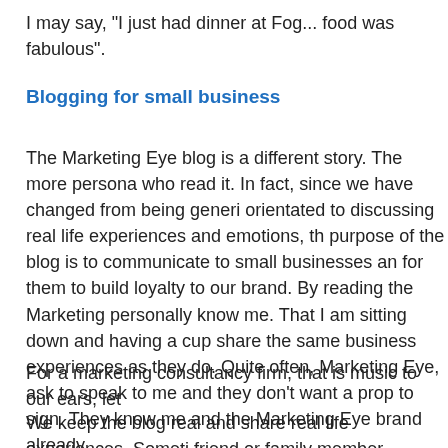I may say, "I just had dinner at Fog... food was fabulous".
Blogging for small business
The Marketing Eye blog is a different story. The more persona who read it. In fact, since we have changed from being generi orientated to discussing real life experiences and emotions, th purpose of the blog is to communicate to small businesses an for them to build loyalty to our brand. By reading the Marketing personally know me. That I am sitting down and having a cup share the same business experiences as they do. Quite often, Marketing Eye, ask to speak to me and they don't want a prop to sign. They know me and the Marketing Eye brand already.
For a marketing consultancy firm, that is music to our ears, let
We keep the blog real and share real life experiences. Someti friend or family member triggers something in my mind and I g blog based on some element of that conversation. It gives peo